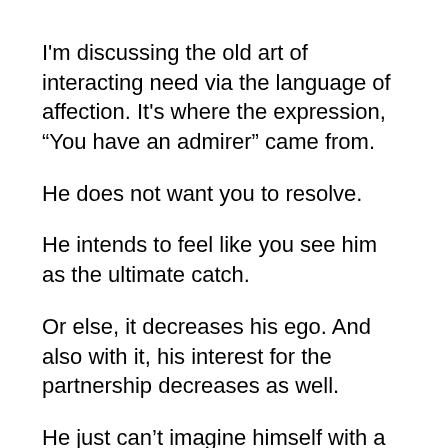I'm discussing the old art of interacting need via the language of affection. It's where the expression, “You have an admirer” came from.
He does not want you to resolve.
He intends to feel like you see him as the ultimate catch.
Or else, it decreases his ego. And also with it, his interest for the partnership decreases as well.
He just can’t imagine himself with a female that respects other men more than she appreciates him. However this is where